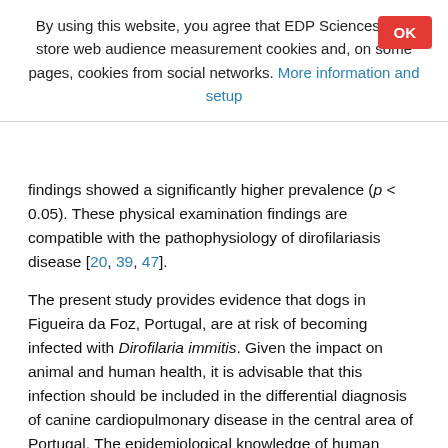By using this website, you agree that EDP Sciences may store web audience measurement cookies and, on some pages, cookies from social networks. More information and setup
findings showed a significantly higher prevalence (p < 0.05). These physical examination findings are compatible with the pathophysiology of dirofilariasis disease [20, 39, 47].
The present study provides evidence that dogs in Figueira da Foz, Portugal, are at risk of becoming infected with Dirofilaria immitis. Given the impact on animal and human health, it is advisable that this infection should be included in the differential diagnosis of canine cardiopulmonary disease in the central area of Portugal. The epidemiological knowledge of human dirofilariasis in Portugal is still scarce. In Portugal, a case of ocular dirofilariasis in a human was reported [15], as well as two cases of D. immitis infection in humans as a consequence of surgical removal and histological examination of lung tissue [16]. Theseferences are directly concerned